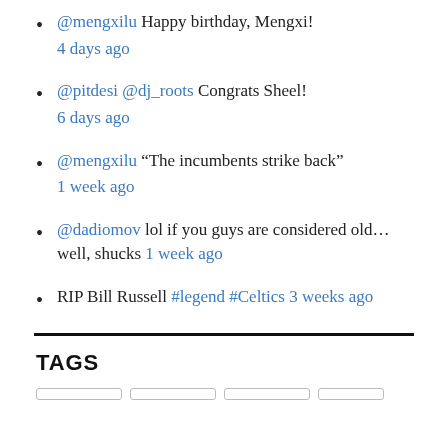@mengxilu Happy birthday, Mengxi! 4 days ago
@pitdesi @dj_roots Congrats Sheel! 6 days ago
@mengxilu “The incumbents strike back” 1 week ago
@dadiomov lol if you guys are considered old…well, shucks 1 week ago
RIP Bill Russell #legend #Celtics 3 weeks ago
TAGS